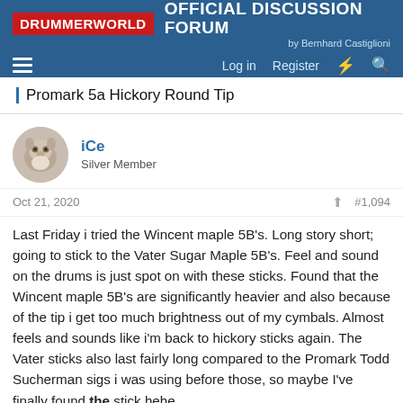DRUMMERWORLD OFFICIAL DISCUSSION FORUM by Bernhard Castiglioni
Promark 5a Hickory Round Tip
iCe
Silver Member
Oct 21, 2020  #1,094
Last Friday i tried the Wincent maple 5B's. Long story short; going to stick to the Vater Sugar Maple 5B's. Feel and sound on the drums is just spot on with these sticks. Found that the Wincent maple 5B's are significantly heavier and also because of the tip i get too much brightness out of my cymbals. Almost feels and sounds like i'm back to hickory sticks again. The Vater sticks also last fairly long compared to the Promark Todd Sucherman sigs i was using before those, so maybe I've finally found the stick hehe.